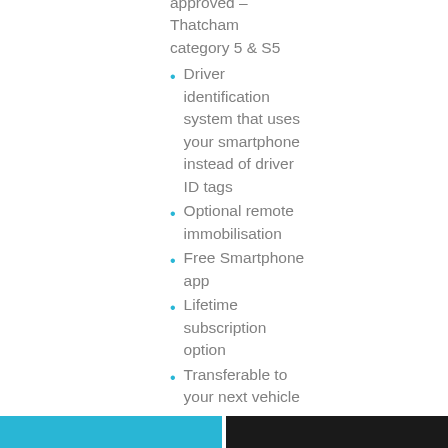approved – Thatcham category 5 & S5
Driver identification system that uses your smartphone instead of driver ID tags
Optional remote immobilisation
Free Smartphone app
Lifetime subscription option
Transferable to your next vehicle